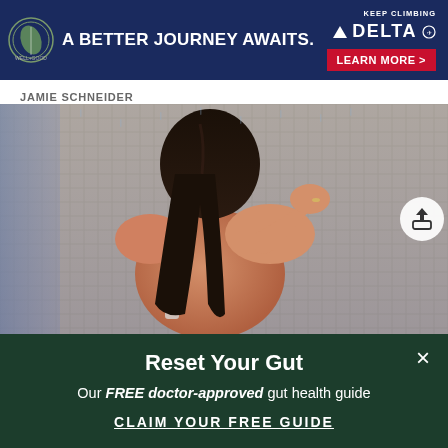[Figure (other): Delta Airlines advertisement banner: dark navy background with leaf/circular logo on left, text 'A BETTER JOURNEY AWAITS.' in white bold, Delta logo and 'KEEP CLIMBING' text on right, red 'LEARN MORE >' button]
JAMIE SCHNEIDER
[Figure (photo): Woman viewed from behind in a shower, with long dark wet hair, hand raised to her hair, tiled mossy/beige grid-pattern wall behind her]
Reset Your Gut
Our FREE doctor-approved gut health guide
CLAIM YOUR FREE GUIDE